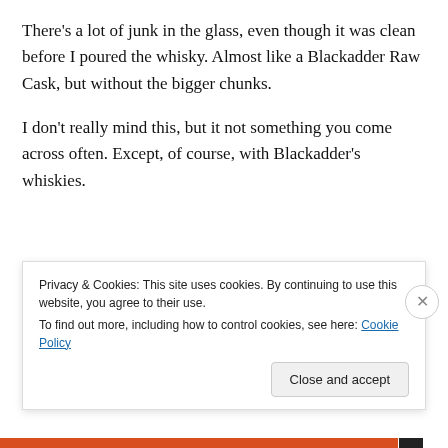There's a lot of junk in the glass, even though it was clean before I poured the whisky. Almost like a Blackadder Raw Cask, but without the bigger chunks.
I don't really mind this, but it not something you come across often. Except, of course, with Blackadder's whiskies.
[Figure (photo): Top portion of a whisky bottle with a gold/amber colored screw cap, photographed from above on a white background.]
Privacy & Cookies: This site uses cookies. By continuing to use this website, you agree to their use.
To find out more, including how to control cookies, see here: Cookie Policy